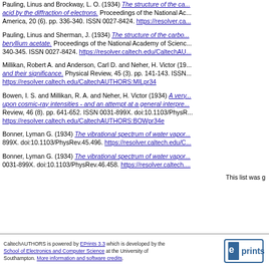Pauling, Linus and Brockway, L. O. (1934) The structure of the carbon acid by the diffraction of electrons. Proceedings of the National Academy of America, 20 (6). pp. 336-340. ISSN 0027-8424. https://resolver.ca...
Pauling, Linus and Sherman, J. (1934) The structure of the carbo- beryllium acetate. Proceedings of the National Academy of Science... 340-345. ISSN 0027-8424. https://resolver.caltech.edu/CaltechAU...
Millikan, Robert A. and Anderson, Carl D. and Neher, H. Victor (19... and their significance. Physical Review, 45 (3). pp. 141-143. ISSN... https://resolver.caltech.edu/CaltechAUTHORS:MILpr34
Bowen, I. S. and Millikan, R. A. and Neher, H. Victor (1934) A very... upon cosmic-ray intensities - and an attempt at a general interpre... Review, 46 (8). pp. 641-652. ISSN 0031-899X. doi:10.1103/PhysR... https://resolver.caltech.edu/CaltechAUTHORS:BOWpr34e
Bonner, Lyman G. (1934) The vibrational spectrum of water vapor... 899X. doi:10.1103/PhysRev.45.496. https://resolver.caltech.edu/C...
Bonner, Lyman G. (1934) The vibrational spectrum of water vapor... 0031-899X. doi:10.1103/PhysRev.46.458. https://resolver.caltech....
This list was g
CaltechAUTHORS is powered by EPrints 3.3 which is developed by the School of Electronics and Computer Science at the University of Southampton. More information and software credits.